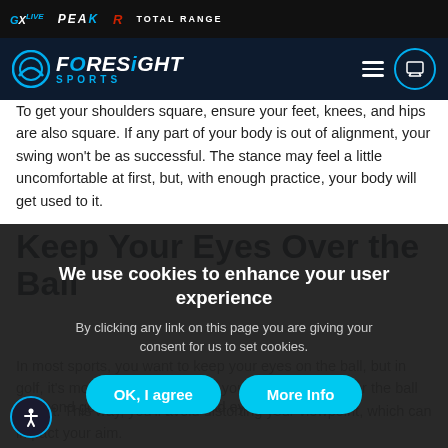Foresight Sports navigation bar with logos: GX Live, Peak, R Total Range, Foresight Sports
To get your shoulders square, ensure your feet, knees, and hips are also square. If any part of your body is out of alignment, your swing won't be as successful. The stance may feel a little uncomfortable at first, but, with enough practice, your body will get used to it.
Keep Your Eyes Over the Ball
In most sports, you want to keep your eyes on the ball, but in golf, it's more important to have your eyes directly over the ball at putt. This way, you'll avoid distorting your viewpoint, which can impact your aim.
To see if your eyes are properly lined out, drop a second golf ball from your lead eye. If you're set up
We use cookies to enhance your user experience
By clicking any link on this page you are giving your consent for us to set cookies.
OK, I agree
More Info